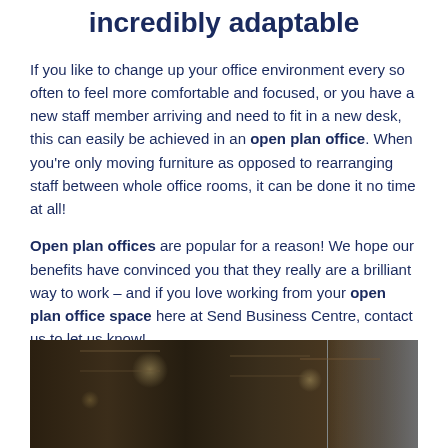incredibly adaptable
If you like to change up your office environment every so often to feel more comfortable and focused, or you have a new staff member arriving and need to fit in a new desk, this can easily be achieved in an open plan office. When you're only moving furniture as opposed to rearranging staff between whole office rooms, it can be done it no time at all!
Open plan offices are popular for a reason! We hope our benefits have convinced you that they really are a brilliant way to work – and if you love working from your open plan office space here at Send Business Centre, contact us to let us know!
[Figure (photo): Interior photo of an open plan office space showing industrial-style ceiling with exposed beams, lighting fixtures, and a brighter windowed area on the right side.]